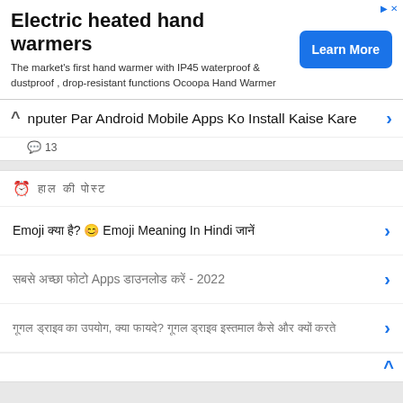[Figure (screenshot): Advertisement banner for electric heated hand warmers with Learn More button]
nputer Par Android Mobile Apps Ko Install Kaise Kare
💬 13
🕐 हाल की पोस्ट
Emoji क्या है? 😊 Emoji Meaning In Hindi जानें
सबसे अच्छा फोटो Apps डाउनलोड करें - 2022
गूगल ड्राइव का उपयोग, क्या फायदे? गूगल ड्राइव इस्तमाल कैसे और क्यों करते